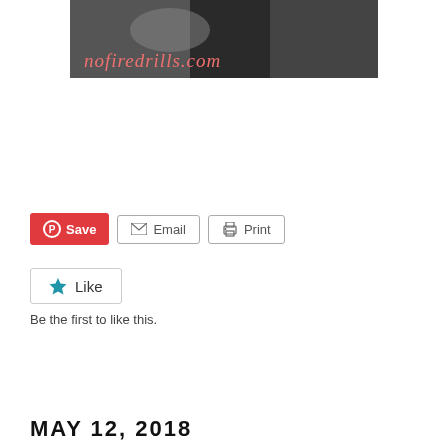[Figure (photo): Black and white photo banner with nofiredrills.com watermark text in coral/salmon italic script]
[Figure (screenshot): Social sharing buttons row: red Save (Pinterest) button, Email button with envelope icon, Print button with printer icon]
[Figure (screenshot): Like widget box with blue star icon and Like text]
Be the first to like this.
MAY 12, 2018